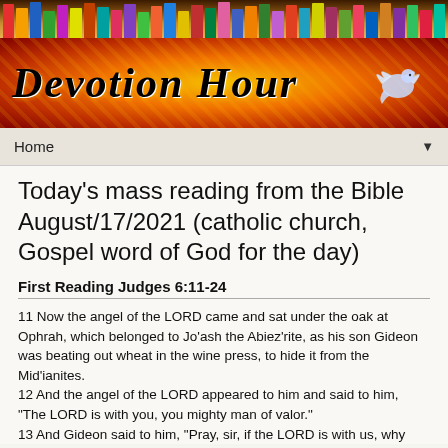[Figure (illustration): Colorful bookshelf strip at the top of the page with multicolored book spines]
[Figure (illustration): Devotion Hour banner with fire/flame background and a dove illustration on the right, with cursive 'Devotion Hour' text in black]
Home ▼
Today's mass reading from the Bible August/17/2021 (catholic church, Gospel word of God for the day)
First Reading Judges 6:11-24
11 Now the angel of the LORD came and sat under the oak at Ophrah, which belonged to Jo'ash the Abiez'rite, as his son Gideon was beating out wheat in the wine press, to hide it from the Mid'ianites.
12 And the angel of the LORD appeared to him and said to him, "The LORD is with you, you mighty man of valor."
13 And Gideon said to him, "Pray, sir, if the LORD is with us, why